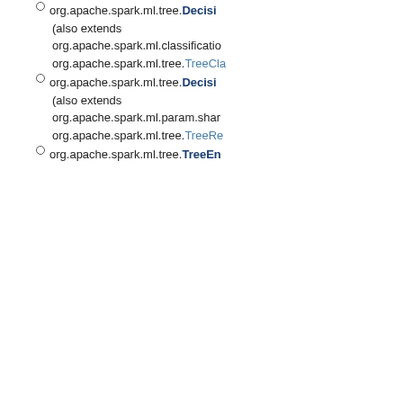org.apache.spark.ml.tree.DecisionTree... (also extends org.apache.spark.ml.classification... org.apache.spark.ml.tree.TreeCla...
org.apache.spark.ml.tree.Decisi... (also extends org.apache.spark.ml.param.shar... org.apache.spark.ml.tree.TreeRe...
org.apache.spark.ml.tree.TreeEn... org.apache.spark.ml.tree.G... (also extends org.apache.spark.ml.param... org.apache.spark.ml.param... org.apache.spark.ml.param... org.apache.spark.ml.... (also extends org.apache.spark.ml.... org.apache.spark.ml.... org.apache.spark.ml.... (also extends org.apache.spark.ml.... org.apache.spark.ml.... org.apache.spark.ml.tree.R... org.apache.spark.ml.... (also extends org.apache.spark.ml.... org.apache.spark.ml.... org.apache.spark.ml....